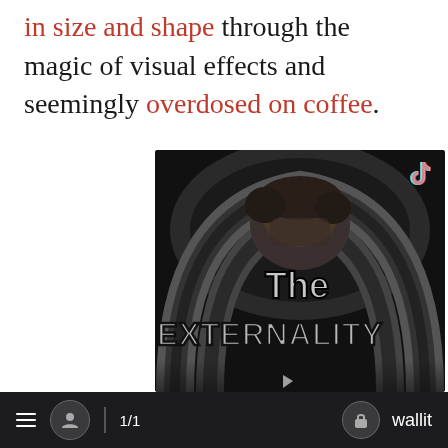in size and shape through the magic of visual effects and seemingly overdosed on coffee.
[Figure (screenshot): A TikTok video screenshot showing 'The Externality' title card with a person's face partially visible. Dark, grayscale aesthetic with swirling graphic design. TikTok logo visible in top right corner.]
1/1  wallit